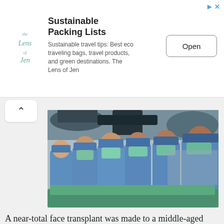[Figure (other): Advertisement banner: Sustainable Packing Lists app ad with logo, description text, and Open button]
[Figure (photo): A surgical team of approximately 10 medical professionals in blue scrubs, surgical caps, and masks performing an operation in an operating room with overhead surgical lights]
A near-total face transplant was made to a middle-aged man at Cleveland Clinic. The surgery took place in September this year and